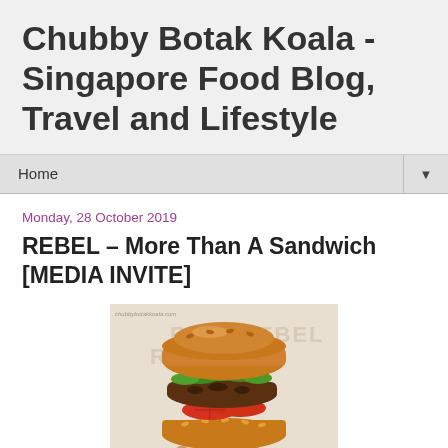Chubby Botak Koala - Singapore Food Blog, Travel and Lifestyle
Home
Monday, 28 October 2019
REBEL – More Than A Sandwich [MEDIA INVITE]
[Figure (photo): A hand holding a sandwich/burger with a toasted bun, green herbs/salad on top, tomato slices, and a fried patty, with REBEL branding visible in the background.]